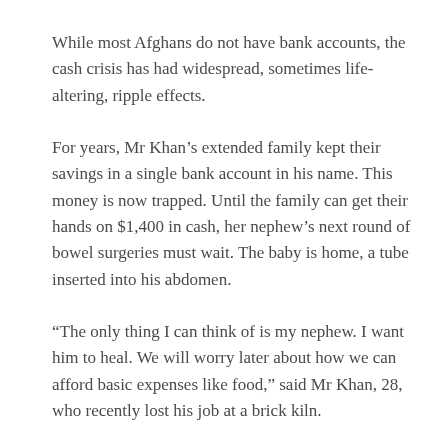While most Afghans do not have bank accounts, the cash crisis has had widespread, sometimes life-altering, ripple effects.
For years, Mr Khan’s extended family kept their savings in a single bank account in his name. This money is now trapped. Until the family can get their hands on $1,400 in cash, her nephew’s next round of bowel surgeries must wait. The baby is home, a tube inserted into his abdomen.
“The only thing I can think of is my nephew. I want him to heal. We will worry later about how we can afford basic expenses like food,” said Mr Khan, 28, who recently lost his job at a brick kiln.